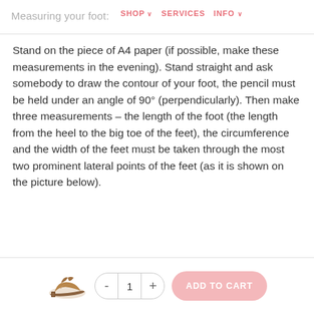Measuring your foot: SHOP ∨ SERVICES INFO ∨
Stand on the piece of A4 paper (if possible, make these measurements in the evening). Stand straight and ask somebody to draw the contour of your foot, the pencil must be held under an angle of 90° (perpendicularly). Then make three measurements – the length of the foot (the length from the heel to the big toe of the feet), the circumference and the width of the feet must be taken through the most two prominent lateral points of the feet (as it is shown on the picture below).
[Figure (illustration): Small image of a gold/tan strappy dance shoe viewed from the side]
- 1 + ADD TO CART